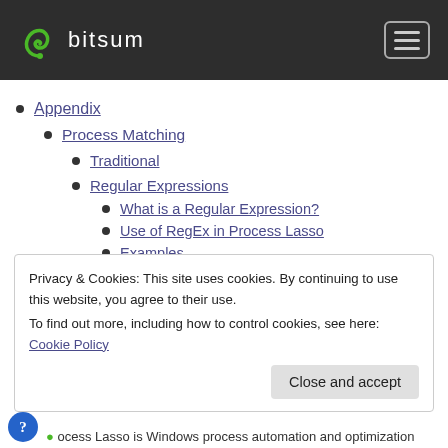bitsum
Appendix
Process Matching
Traditional
Regular Expressions
What is a Regular Expression?
Use of RegEx in Process Lasso
Examples
Simple
Advanced
Privacy & Cookies: This site uses cookies. By continuing to use this website, you agree to their use.
To find out more, including how to control cookies, see here: Cookie Policy
Close and accept
ocess Lasso is Windows process automation and optimization